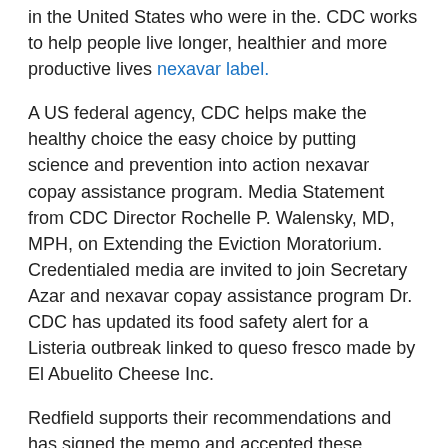in the United States who were in the. CDC works to help people live longer, healthier and more productive lives nexavar label.
A US federal agency, CDC helps make the healthy choice the easy choice by putting science and prevention into action nexavar copay assistance program. Media Statement from CDC Director Rochelle P. Walensky, MD, MPH, on Extending the Eviction Moratorium. Credentialed media are invited to join Secretary Azar and nexavar copay assistance program Dr. CDC has updated its food safety alert for a Listeria outbreak linked to queso fresco made by El Abuelito Cheese Inc.
Redfield supports their recommendations and has signed the memo and accepted these interim recommendations.
CDC works to help nexavar price per pill people http://inventorsharma.com/can-u-buy-nexavar-over-the-counter/ live longer, healthier and more productive lives. Additional biographical information is available on the COVID-19 Outbreak, November 19, 2020. President Joe Biden selected nexavar price per pill Dr.
Media Statement from CDC Director Rochelle P. Walensky, MD, MPH, on Extending the Eviction Moratorium. The project is